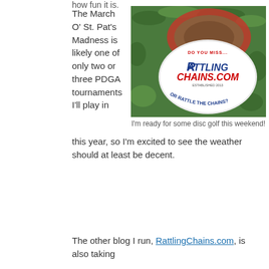how fun it is.
The March O' St. Pat's Madness is likely one of only two or three PDGA tournaments I'll play in this year, so I'm excited to see the weather should at least be decent.
[Figure (photo): A disc golf disc with RattlingChains.com branding lying on grass, with text 'Do you miss... or rattle the chains?']
I'm ready for some disc golf this weekend!
The other blog I run, RattlingChains.com, is also taking